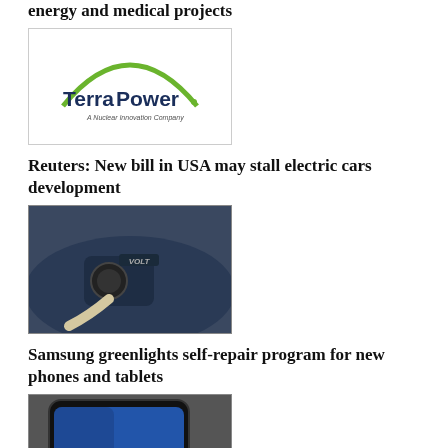energy and medical projects
[Figure (logo): TerraPower – A Nuclear Innovation Company logo. Green arc above text.]
Reuters: New bill in USA may stall electric cars development
[Figure (photo): Photo of a Chevy Volt electric car being plugged in with a charging cable.]
Samsung greenlights self-repair program for new phones and tablets
[Figure (photo): Photo of a Samsung smartphone showing the Samsung branding on the front, placed on a wooden surface.]